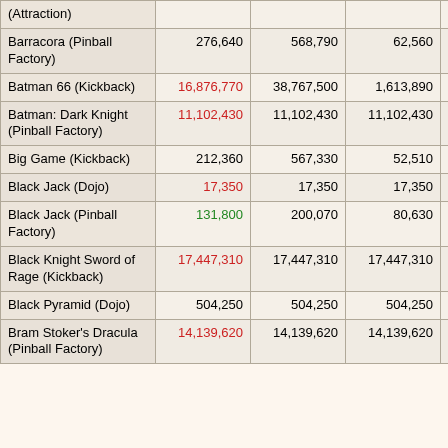| (Machine) | Score1 | Score2 | Score3 | Count |
| --- | --- | --- | --- | --- |
| (Attraction) |  |  |  |  |
| Barracora (Pinball Factory) | 276,640 | 568,790 | 62,560 | 5 |
| Batman 66 (Kickback) | 16,876,770 | 38,767,500 | 1,613,890 | 3 |
| Batman: Dark Knight (Pinball Factory) | 11,102,430 | 11,102,430 | 11,102,430 | 1 |
| Big Game (Kickback) | 212,360 | 567,330 | 52,510 | 4 |
| Black Jack (Dojo) | 17,350 | 17,350 | 17,350 | 1 |
| Black Jack (Pinball Factory) | 131,800 | 200,070 | 80,630 | 3 |
| Black Knight Sword of Rage (Kickback) | 17,447,310 | 17,447,310 | 17,447,310 | 1 |
| Black Pyramid (Dojo) | 504,250 | 504,250 | 504,250 | 1 |
| Bram Stoker's Dracula (Pinball Factory) | 14,139,620 | 14,139,620 | 14,139,620 | 1 |